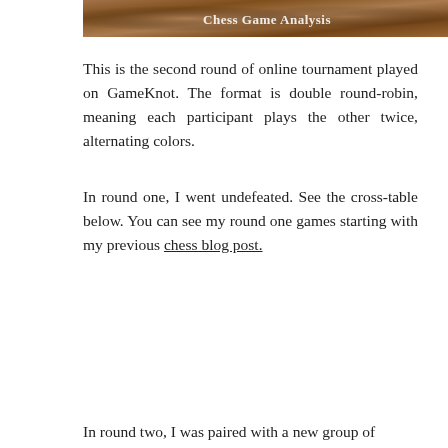[Figure (photo): Banner image showing chess pieces with text 'Chess Game Analysis' overlaid in white]
This is the second round of online tournament played on GameKnot. The format is double round-robin, meaning each participant plays the other twice, alternating colors.
In round one, I went undefeated. See the cross-table below. You can see my round one games starting with my previous chess blog post.
In round two, I was paired with a new group of